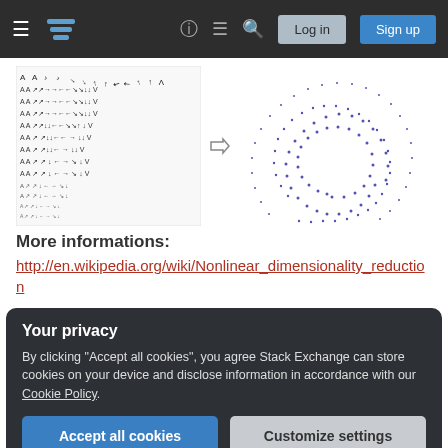Stack Exchange navigation bar with Log in and Sign up buttons
[Figure (illustration): Left: grid of letter 'A' characters in various rotations/sizes arranged in rows. Arrow pointing right. Right: spiral/fan pattern of blue dots forming a curved shape (dimensionality reduction illustration).]
More informations:
http://en.wikipedia.org/wiki/Nonlinear_dimensionality_reduction
Your privacy
By clicking "Accept all cookies", you agree Stack Exchange can store cookies on your device and disclose information in accordance with our Cookie Policy.
Accept all cookies   Customize settings
1,408  17  31